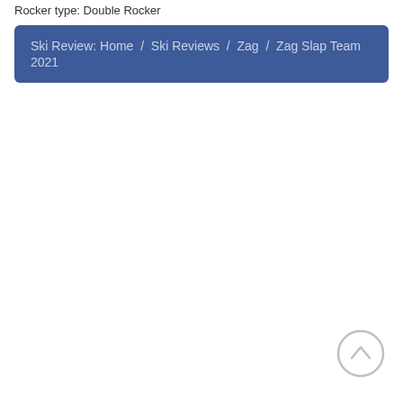Rocker type: Double Rocker
Ski Review: Home / Ski Reviews / Zag / Zag Slap Team 2021
[Figure (other): Back to top arrow button - circle with upward chevron arrow, light gray outline style]